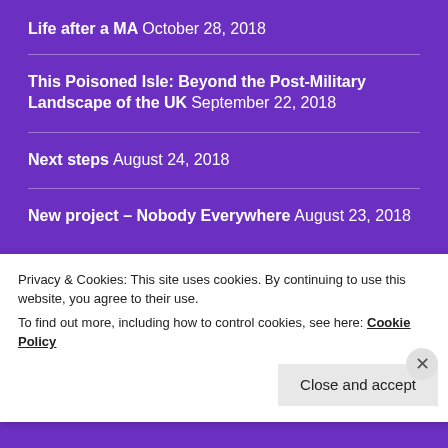Life after a MA October 28, 2018
This Poisoned Isle: Beyond the Post-Military Landscape of the UK September 22, 2018
Next steps August 24, 2018
New project – Nobody Everywhere August 23, 2018
NAVIGATION
Home
Privacy & Cookies: This site uses cookies. By continuing to use this website, you agree to their use.
To find out more, including how to control cookies, see here: Cookie Policy
Close and accept